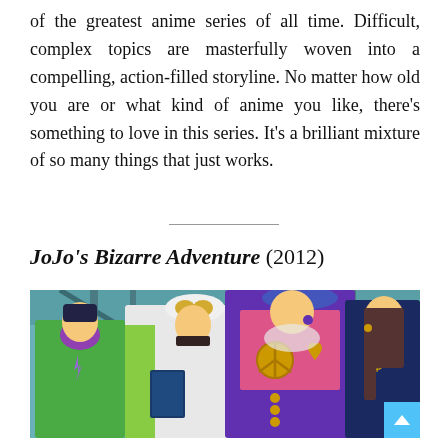of the greatest anime series of all time. Difficult, complex topics are masterfully woven into a compelling, action-filled storyline. No matter how old you are or what kind of anime you like, there's something to love in this series. It's a brilliant mixture of so many things that just works.
JoJo's Bizarre Adventure (2012)
[Figure (illustration): Anime scene from JoJo's Bizarre Adventure (2012) showing four characters: a young man in green on the far left, a character in white coat with goggles in the center-left, a tall female character in purple with gold accessories (peace sign and heart) prominently in the center, and a long-haired character on the right. Background shows a bridge/industrial setting.]